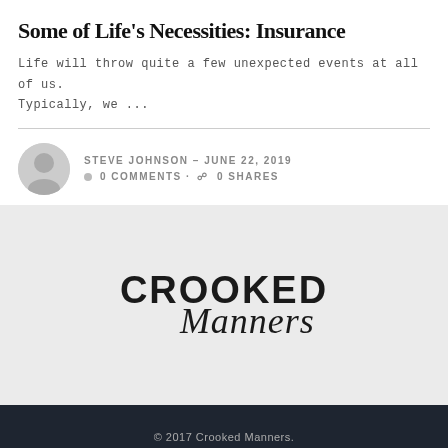Some of Life's Necessities: Insurance
Life will throw quite a few unexpected events at all of us. Typically, we ...
STEVE JOHNSON – JUNE 22, 2019
0 COMMENTS · 0 SHARES
[Figure (logo): Crooked Manners logo with bold uppercase CROOKED and italic script Manners]
© 2017 Crooked Manners.